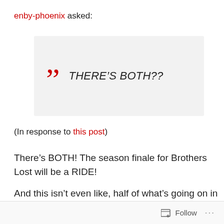enby-phoenix asked:
THERE'S BOTH??
(In response to this post)
There's BOTH! The season finale for Brothers Lost will be a RIDE!
And this isn't even like, half of what's going on in the story
Follow ...